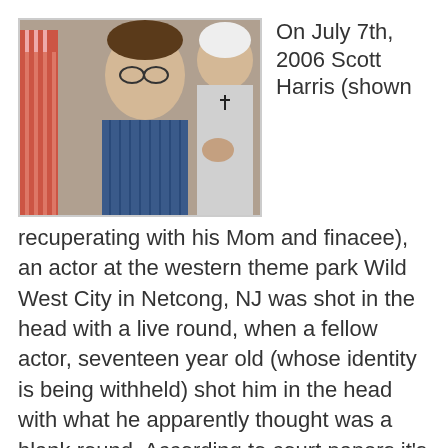[Figure (photo): Photo of a man (Scott Harris) recuperating, with two women behind him, one wearing a cross necklace.]
On July 7th, 2006 Scott Harris (shown recuperating with his Mom and finacee), an actor at the western theme park Wild West City in Netcong, NJ was shot in the head with a live round, when a fellow actor, seventeen year old (whose identity is being withheld) shot him in the head with what he apparently thought was a blank round. According to court papers it's alleged that the teen received only five minutes of training before the incident.
Reports note that while the firearm used in the